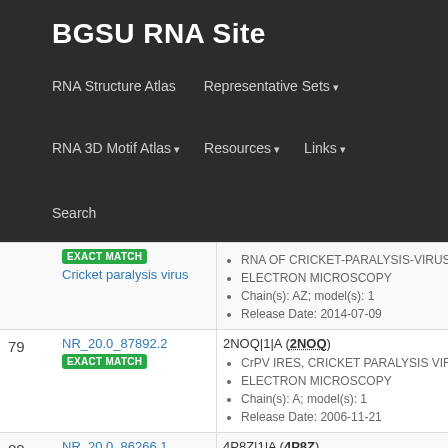BGSU RNA Site
RNA Structure Atlas | Representative Sets ▾ | RNA 3D Motif Atlas ▾ | Resources ▾ | Links ▾ | Search
| # | ID | Info |
| --- | --- | --- |
|  | NR_20.0_... EXACT MATCH
Cricket paralysis virus | RNA OF CRICKET-PARALYSIS-VIRUS-I...
ELECTRON MICROSCOPY
Chain(s): AZ; model(s): 1
Release Date: 2014-07-09 |
| 79 | NR_20.0_87892.2 EXACT MATCH | 2NOQ|1|A (2NOQ)
CrPV IRES, CRICKET PARALYSIS VIRU...
ELECTRON MICROSCOPY
Chain(s): A; model(s): 1
Release Date: 2006-11-21 |
| 80 | NR_20.0_86266.1 EXACT MATCH
Didymium iridis | 4P8Z|1|A (4P8Z)
Didymium iridis partial IGS, 18S rRNA ge...
X-RAY DIFFRACTION
Chain(s): A; model(s): 1 |